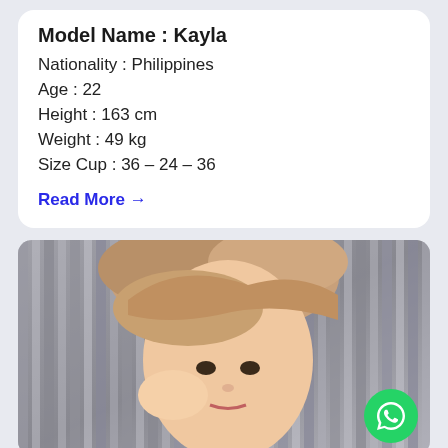Model Name : Kayla
Nationality : Philippines
Age : 22
Height : 163 cm
Weight : 49 kg
Size Cup : 36 – 24 – 36
Read More →
[Figure (photo): Portrait photo of a young woman with light brown/blonde hair touching her hair near her ear, posing in front of vertical metallic striped curtain background. A green WhatsApp button is visible in the bottom-right corner of the image.]